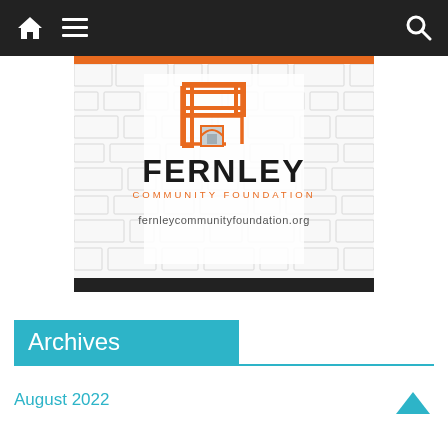Navigation bar with home, menu, and search icons
[Figure (logo): Fernley Community Foundation logo with geometric F icon in orange, text FERNLEY in black, COMMUNITY FOUNDATION in orange, and website fernleycommunityfoundation.org, on a white background with light grey brick-like pattern]
Archives
August 2022